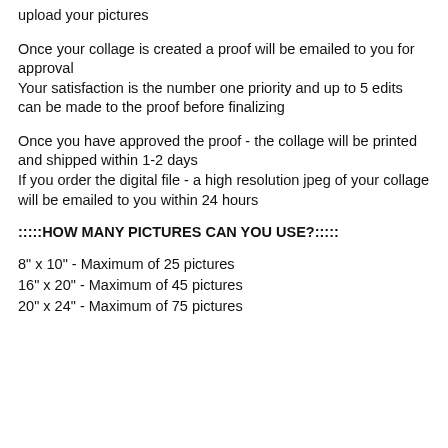upload your pictures
Once your collage is created a proof will be emailed to you for approval
Your satisfaction is the number one priority and up to 5 edits can be made to the proof before finalizing
Once you have approved the proof - the collage will be printed and shipped within 1-2 days
If you order the digital file - a high resolution jpeg of your collage will be emailed to you within 24 hours
:::::HOW MANY PICTURES CAN YOU USE?:::::
8" x 10" - Maximum of 25 pictures
16" x 20" - Maximum of 45 pictures
20" x 24" - Maximum of 75 pictures